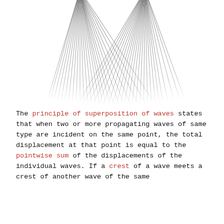[Figure (illustration): Wave interference pattern showing two circular wave sources producing a superposition interference pattern. The pattern consists of alternating dark and light bands radiating outward, with the densest overlap region at the top center. The image is black and white with a halftone/moire-like interference pattern.]
The principle of superposition of waves states that when two or more propagating waves of same type are incident on the same point, the total displacement at that point is equal to the pointwise sum of the displacements of the individual waves. If a crest of a wave meets a crest of another wave of the same